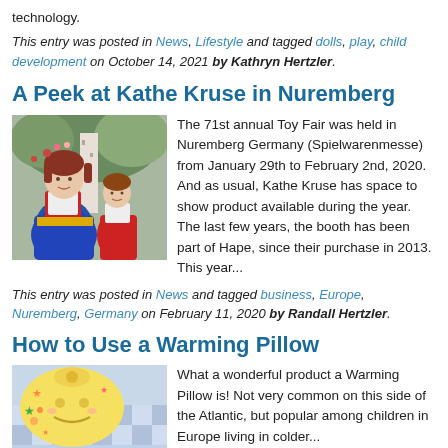technology.
This entry was posted in News, Lifestyle and tagged dolls, play, child development on October 14, 2021 by Kathryn Hertzler.
A Peek at Kathe Kruse in Nuremberg
[Figure (photo): Two Kathe Kruse dolls in traditional folk costumes, one large and one small, with floral wreaths in background]
The 71st annual Toy Fair was held in Nuremberg Germany (Spielwarenmesse) from January 29th to February 2nd, 2020. And as usual, Kathe Kruse has space to show product available during the year. The last few years, the booth has been part of Hape, since their purchase in 2013. This year...
This entry was posted in News and tagged business, Europe, Nuremberg, Germany on February 11, 2020 by Randall Hertzler.
How to Use a Warming Pillow
[Figure (photo): A colorful warming pillow toy with star patterns and a stuffed animal]
What a wonderful product a Warming Pillow is! Not very common on this side of the Atlantic, but popular among children in Europe living in colder...